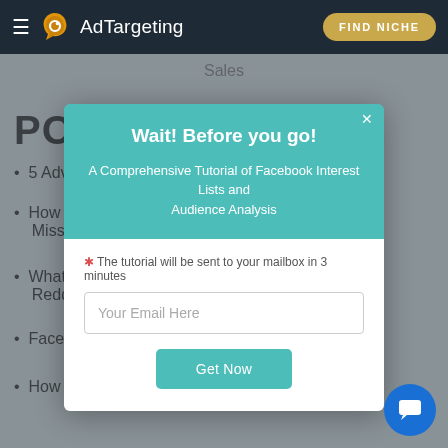AdTargeting | FIND NICHE
Sales
POPU...
5 Advi...
How t... Can't Miss
What ... s on Reddit
Facebook Audience Insight Alternative 2021
How to Do Audience Targeting with AdTargeting?
[Figure (screenshot): Modal popup on AdTargeting website with title 'Wait! Before you go!', subtitle 'A Comprehensive Tutorial of Facebook Interest Lists and Audience Analysis', email input field, and 'Get Now' button]
Wait! Before you go! — A Comprehensive Tutorial of Facebook Interest Lists and Audience Analysis. The tutorial will be sent to your mailbox in 3 minutes. Get Now.